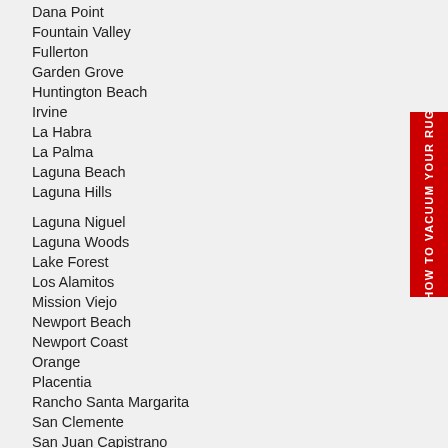Dana Point
Fountain Valley
Fullerton
Garden Grove
Huntington Beach
Irvine
La Habra
La Palma
Laguna Beach
Laguna Hills
Laguna Niguel
Laguna Woods
Lake Forest
Los Alamitos
Mission Viejo
Newport Beach
Newport Coast
Orange
Placentia
Rancho Santa Margarita
San Clemente
San Juan Capistrano
[Figure (other): Red vertical sidebar banner with rotated white text reading 'HOW TO VACUUM YOUR RUG']